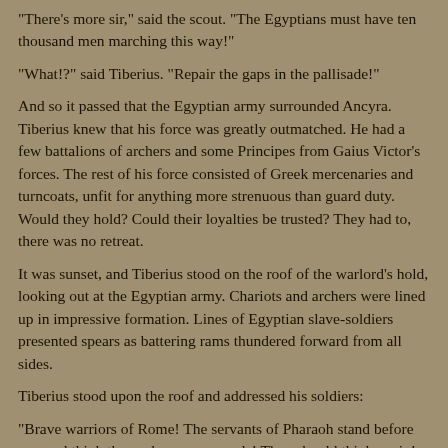"There's more sir," said the scout. "The Egyptians must have ten thousand men marching this way!"
"What!?" said Tiberius. "Repair the gaps in the pallisade!"
And so it passed that the Egyptian army surrounded Ancyra. Tiberius knew that his force was greatly outmatched. He had a few battalions of archers and some Principes from Gaius Victor's forces. The rest of his force consisted of Greek mercenaries and turncoats, unfit for anything more strenuous than guard duty. Would they hold? Could their loyalties be trusted? They had to, there was no retreat.
It was sunset, and Tiberius stood on the roof of the warlord's hold, looking out at the Egyptian army. Chariots and archers were lined up in impressive formation. Lines of Egyptian slave-soldiers presented spears as battering rams thundered forward from all sides.
Tiberius stood upon the roof and addressed his soldiers:
"Brave warriors of Rome! The servants of Pharaoh stand before you and think themselves your equals! They should think again! We are gravely outnumbered here, and there is no retreat! Should this town fall, every man here will be put to the sword! Show no quarter! I have triumphed against men far more dangerous than these! Of the enemies that have stood before me, none may boast of victory! So take up your sword and shield, string your bows, and prepare for battle! By this time tomorrow, your sword arms will ache from overuse!"
The soldiers cheered, but Tiberius knew it was halfhearted at best. They knew what to expect, and they knew the dangers that waited.